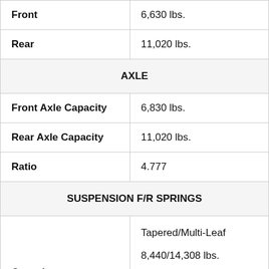| Specification | Value |
| --- | --- |
| Front | 6,630 lbs. |
| Rear | 11,020 lbs. |
| AXLE |  |
| Front Axle Capacity | 6,830 lbs. |
| Rear Axle Capacity | 11,020 lbs. |
| Ratio | 4.777 |
| SUSPENSION F/R SPRINGS |  |
| Capacity | Tapered/Multi-Leaf
8,440/14,308 lbs. |